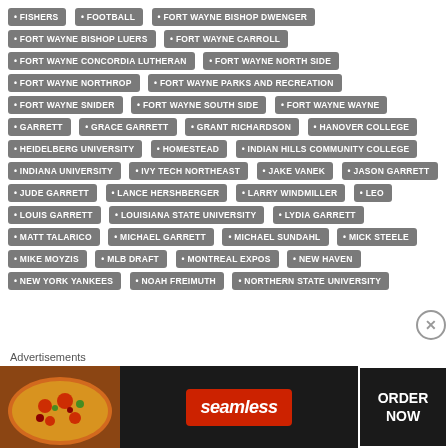FISHERS
FOOTBALL
FORT WAYNE BISHOP DWENGER
FORT WAYNE BISHOP LUERS
FORT WAYNE CARROLL
FORT WAYNE CONCORDIA LUTHERAN
FORT WAYNE NORTH SIDE
FORT WAYNE NORTHROP
FORT WAYNE PARKS AND RECREATION
FORT WAYNE SNIDER
FORT WAYNE SOUTH SIDE
FORT WAYNE WAYNE
GARRETT
GRACE GARRETT
GRANT RICHARDSON
HANOVER COLLEGE
HEIDELBERG UNIVERSITY
HOMESTEAD
INDIAN HILLS COMMUNITY COLLEGE
INDIANA UNIVERSITY
IVY TECH NORTHEAST
JAKE VANEK
JASON GARRETT
JUDE GARRETT
LANCE HERSHBERGER
LARRY WINDMILLER
LEO
LOUIS GARRETT
LOUISIANA STATE UNIVERSITY
LYDIA GARRETT
MATT TALARICO
MICHAEL GARRETT
MICHAEL SUNDAHL
MICK STEELE
MIKE MOYZIS
MLB DRAFT
MONTREAL EXPOS
NEW HAVEN
NEW YORK YANKEES
NOAH FREIMUTH
NORTHERN STATE UNIVERSITY
Advertisements
[Figure (infographic): Seamless food delivery advertisement banner with pizza image on left, Seamless logo in center, and ORDER NOW button on right]